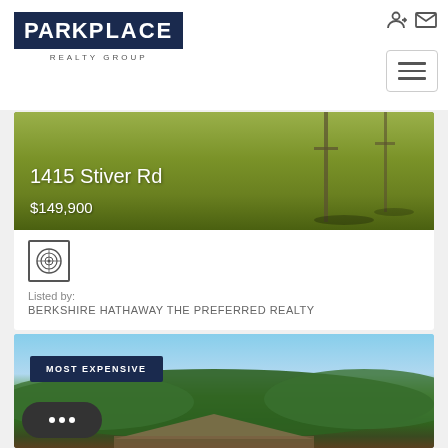[Figure (logo): Park Place Realty Group logo - dark navy box with white bold text PARKPLACE, subtitle REALTY GROUP below]
[Figure (photo): Property photo - grassy field with utility poles, listing for 1415 Stiver Rd at $149,900]
1415 Stiver Rd
$149,900
[Figure (logo): Berkshire Hathaway circular logo icon]
Listed by:
BERKSHIRE HATHAWAY THE PREFERRED REALTY
[Figure (photo): Property photo with MOST EXPENSIVE badge, showing house with tree-covered hillside in background, chat bubble overlay in lower left]